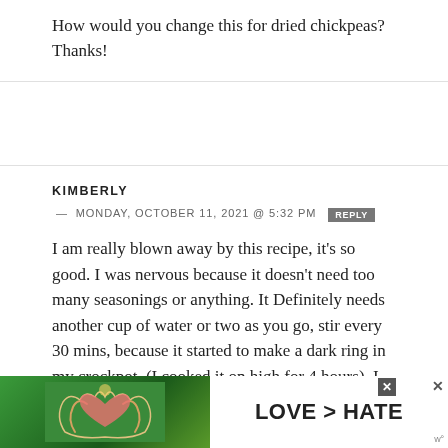How would you change this for dried chickpeas? Thanks!
KIMBERLY — MONDAY, OCTOBER 11, 2021 @ 5:32 PM
REPLY
I am really blown away by this recipe, it's so good. I was nervous because it doesn't need too many seasonings or anything. It Definitely needs another cup of water or two as you go, stir every 30 mins, because it started to make a dark ring in my crockpot. (I cooked it on high for 4 hours). I added a bag of frozen spinach when I added in
[Figure (advertisement): Ad banner showing two hands forming a heart shape against a green outdoor background, with the text LOVE > HATE in bold black letters on white background, and a close button X.]